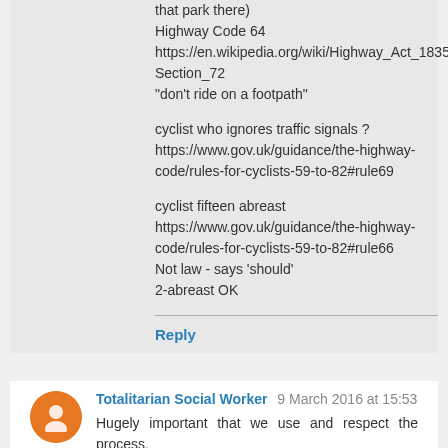that park there)
Highway Code 64
https://en.wikipedia.org/wiki/Highway_Act_1835#Section_72
"don't ride on a footpath"

cyclist who ignores traffic signals ?
https://www.gov.uk/guidance/the-highway-code/rules-for-cyclists-59-to-82#rule69

cyclist fifteen abreast
https://www.gov.uk/guidance/the-highway-code/rules-for-cyclists-59-to-82#rule66
Not law - says 'should'
2-abreast OK
Reply
Totalitarian Social Worker  9 March 2016 at 15:53
Hugely important that we use and respect the process.